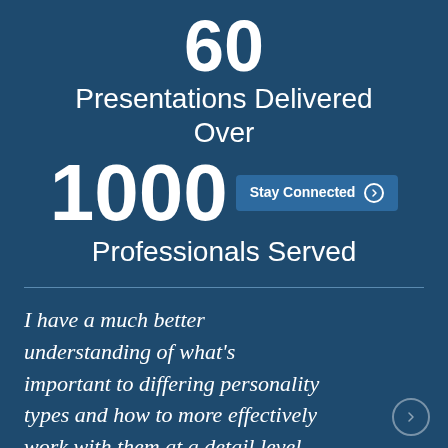60 Presentations Delivered Over 1000 Professionals Served
I have a much better understanding of what's important to differing personality types and how to more effectively work with them at a detail level